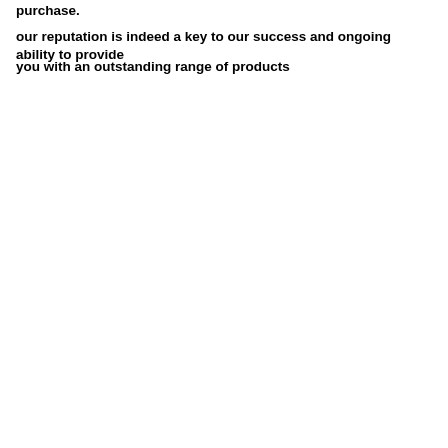purchase.
our reputation is indeed a key to our success and ongoing ability to provide
you with an outstanding range of products